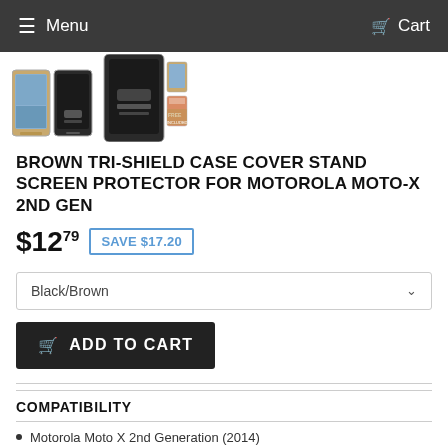Menu  Cart
[Figure (photo): Product thumbnail images of brown tri-shield case cover for Motorola Moto-X 2nd Gen, showing multiple angles including a 'FREE' badge overlay]
BROWN TRI-SHIELD CASE COVER STAND SCREEN PROTECTOR FOR MOTOROLA MOTO-X 2ND GEN
$12.79  SAVE $17.20
Black/Brown (dropdown)
ADD TO CART
COMPATIBILITY
Motorola Moto X 2nd Generation (2014)